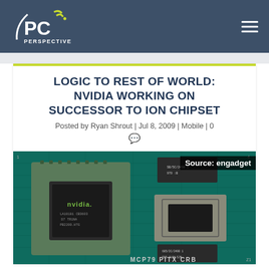PC Perspective
LOGIC TO REST OF WORLD: NVIDIA WORKING ON SUCCESSOR TO ION CHIPSET
Posted by Ryan Shrout | Jul 8, 2009 | Mobile | 0
[Figure (photo): Photo of NVIDIA ION chipset on a green PCB (MCP79 PITX CRB board), with an Intel mobile processor chip visible alongside it. Source: engadget watermark in upper right.]